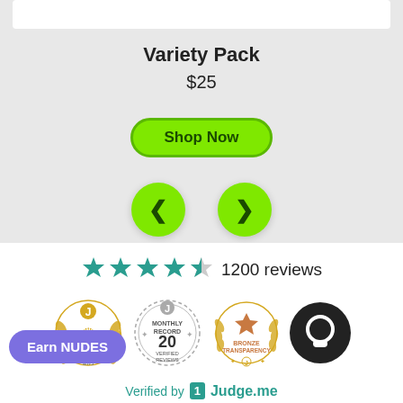Variety Pack
$25
Shop Now
[Figure (other): Navigation carousel buttons: left arrow and right arrow circles in lime green]
1200 reviews
[Figure (other): Three Judge.me badges: 145 Verified Reviews, Monthly Record 20 Verified Reviews, Bronze Transparency; plus a dark chat/messenger circle icon]
Earn NUDES
Verified by Judge.me